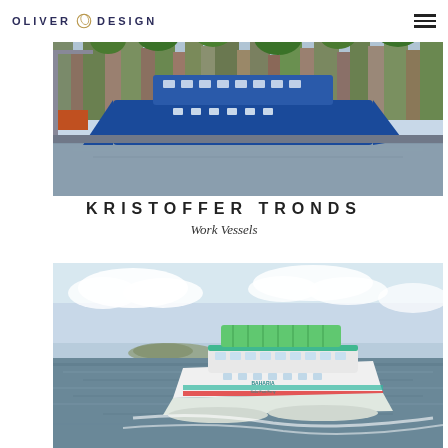OLIVER DESIGN
[Figure (photo): A blue ferry vessel docked at a Norwegian harbor with colorful waterfront buildings (Bryggen, Bergen) in the background]
KRISTOFFER TRONDS
Work Vessels
[Figure (photo): A white and teal catamaran passenger ferry underway at sea, aerial view, with green solar panels on roof and Baharia branding]